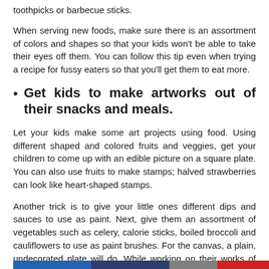toothpicks or barbecue sticks.
When serving new foods, make sure there is an assortment of colors and shapes so that your kids won’t be able to take their eyes off them. You can follow this tip even when trying a recipe for fussy eaters so that you’ll get them to eat more.
Get kids to make artworks out of their snacks and meals.
Let your kids make some art projects using food. Using different shaped and colored fruits and veggies, get your children to come up with an edible picture on a square plate. You can also use fruits to make stamps; halved strawberries can look like heart-shaped stamps.
Another trick is to give your little ones different dips and sauces to use as paint. Next, give them an assortment of vegetables such as celery, calorie sticks, boiled broccoli and cauliflowers to use as paint brushes. For the canvas, a plain, undecorated plate will do. While working on their works of art, encourage them to taste their edible materials.